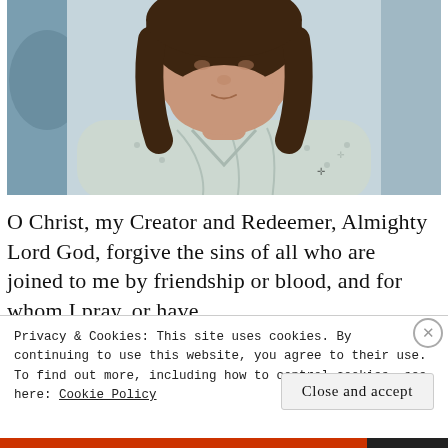[Figure (photo): Close-up photo of a woman with brown shoulder-length hair wearing a light grey/white patterned robe or jacket, shot from a slightly above angle showing her face and upper torso]
O Christ, my Creator and Redeemer, Almighty Lord God, forgive the sins of all who are joined to me by friendship or blood, and for whom I pray, or have
Privacy & Cookies: This site uses cookies. By continuing to use this website, you agree to their use.
To find out more, including how to control cookies, see here: Cookie Policy
Close and accept